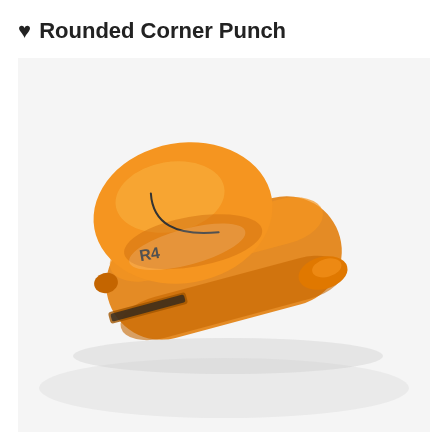♥ Rounded Corner Punch
[Figure (photo): An orange rounded corner punch tool with R4 label on the top handle, shown at an angle on a white background. The tool is compact and entirely orange plastic with a slot for inserting paper corners.]